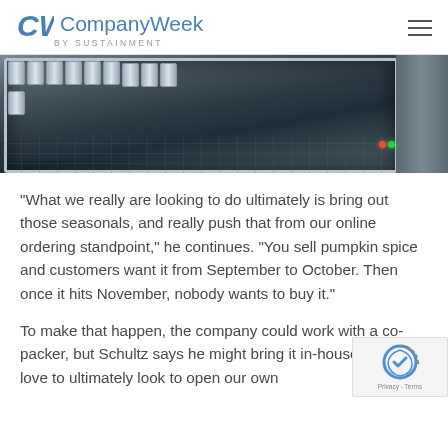CW CompanyWeek by SUSTAINMENT
[Figure (photo): Industrial conveyor belt with metal cans/cylinders in a manufacturing setting, viewed from above. Machine equipment visible on the right side with indicator lights.]
"What we really are looking to do ultimately is bring out those seasonals, and really push that from our online ordering standpoint," he continues. "You sell pumpkin spice and customers want it from September to October. Then once it hits November, nobody wants to buy it."
To make that happen, the company could work with a co-packer, but Schultz says he might bring it in-house. "We'd love to ultimately look to open our own